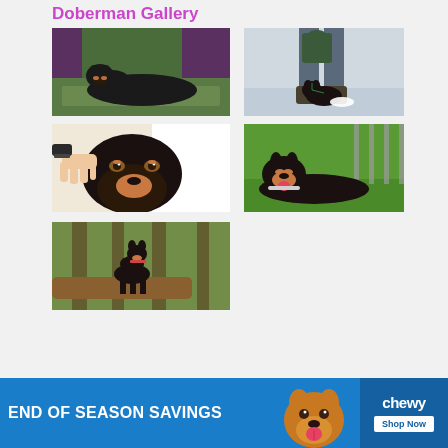Doberman Gallery
[Figure (photo): Black Doberman lying on grass outdoors]
[Figure (photo): Small Doberman puppy with harness standing by person's legs in snow with bowl]
[Figure (photo): Doberman being groomed with clippers closeup]
[Figure (photo): Doberman lying on green grass with tongue out]
[Figure (photo): Doberman standing on a tree branch in forest]
[Figure (illustration): Chewy End of Season Savings advertisement banner with golden retriever and Chewy logo Shop Now button]